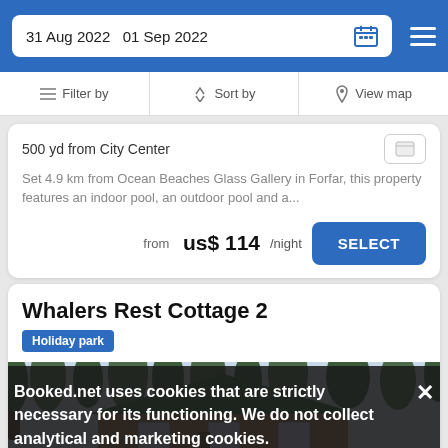31 Aug 2022  01 Sep 2022
Filter by  Sort by  View map
500 yd from City Center
Set 4.9 km from Ocean Beaches Glass Gallery in Forfar, this property features an indoor pool, an outdoor pool and a...
from us$ 114/night
Whalers Rest Cottage 2
Holiday park
[Figure (photo): Exterior photo of a wooden cottage with green metal roof surrounded by trees]
Booked.net uses cookies that are strictly necessary for its functioning. We do not collect analytical and marketing cookies.